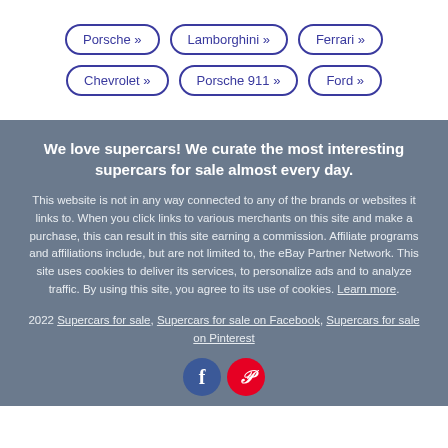Porsche »
Lamborghini »
Ferrari »
Chevrolet »
Porsche 911 »
Ford »
We love supercars! We curate the most interesting supercars for sale almost every day.
This website is not in any way connected to any of the brands or websites it links to. When you click links to various merchants on this site and make a purchase, this can result in this site earning a commission. Affiliate programs and affiliations include, but are not limited to, the eBay Partner Network. This site uses cookies to deliver its services, to personalize ads and to analyze traffic. By using this site, you agree to its use of cookies. Learn more.
2022 Supercars for sale, Supercars for sale on Facebook, Supercars for sale on Pinterest
[Figure (illustration): Social media icons: Facebook (blue circle with white F) and Pinterest (red circle with white P)]